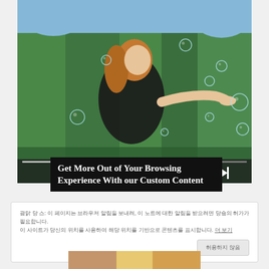[Figure (photo): Woman in black t-shirt outdoors with bubbles floating around her, trees in background. Video player controls visible at bottom of image.]
Get More Out of Your Browsing Experience With our Custom Content
Korean/CJK text notification message with a link 'see more' (underlined). A button labeled with CJK characters for dismissal.
[Figure (photo): Bottom strip showing a partial image (colorful, warm tones).]